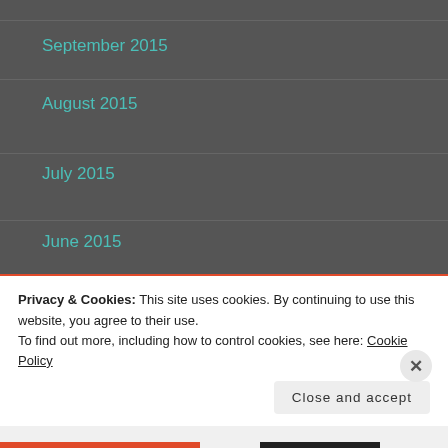September 2015
August 2015
July 2015
June 2015
CATEGORIES
Announcements
Privacy & Cookies: This site uses cookies. By continuing to use this website, you agree to their use.
To find out more, including how to control cookies, see here: Cookie Policy
Close and accept